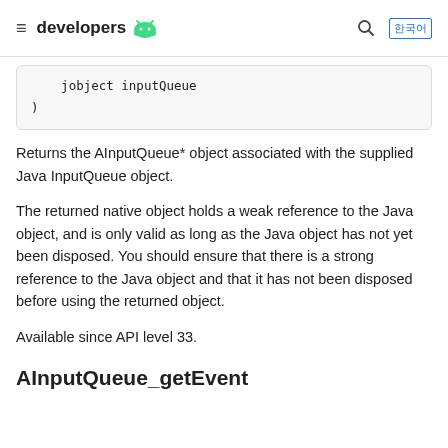≡ developers [android logo] 🔍 [lang]
jobject inputQueue
)
Returns the AInputQueue* object associated with the supplied Java InputQueue object.
The returned native object holds a weak reference to the Java object, and is only valid as long as the Java object has not yet been disposed. You should ensure that there is a strong reference to the Java object and that it has not been disposed before using the returned object.
Available since API level 33.
AInputQueue_getEvent